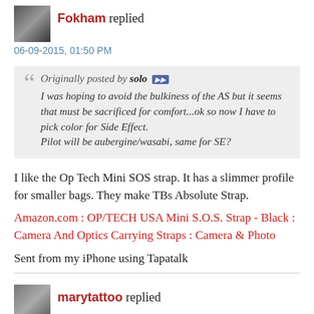Fokham replied
06-09-2015, 01:50 PM
Originally posted by solo
I was hoping to avoid the bulkiness of the AS but it seems that must be sacrificed for comfort...ok so now I have to pick color for Side Effect.
Pilot will be aubergine/wasabi, same for SE?
I like the Op Tech Mini SOS strap. It has a slimmer profile for smaller bags. They make TBs Absolute Strap.
Amazon.com : OP/TECH USA Mini S.O.S. Strap - Black : Camera And Optics Carrying Straps : Camera & Photo
Sent from my iPhone using Tapatalk
marytattoo replied
06-09-2015, 01:23 PM
Originally posted by...